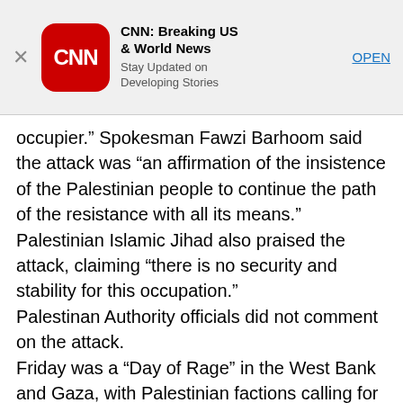[Figure (screenshot): CNN app advertisement banner with CNN logo (red rounded square), app name 'CNN: Breaking US & World News', subtitle 'Stay Updated on Developing Stories', and an 'OPEN' button link. A close (X) button is on the left.]
occupier.” Spokesman Fawzi Barhoom said the attack was “an affirmation of the insistence of the Palestinian people to continue the path of the resistance with all its means.” Palestinian Islamic Jihad also praised the attack, claiming “there is no security and stability for this occupation.”
Palestinan Authority officials did not comment on the attack.
Friday was a “Day of Rage” in the West Bank and Gaza, with Palestinian factions calling for large-scale protests to mark 100 days since US President Donald Trump’s recognition of Jerusalem as the capital of Israel.